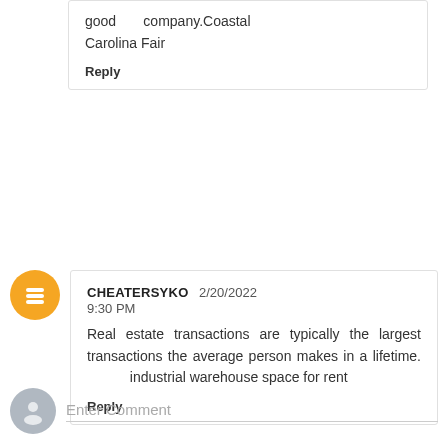good company.Coastal Carolina Fair
Reply
CHEATERSYKO 2/20/2022 9:30 PM
Real estate transactions are typically the largest transactions the average person makes in a lifetime. industrial warehouse space for rent
Reply
Enter Comment